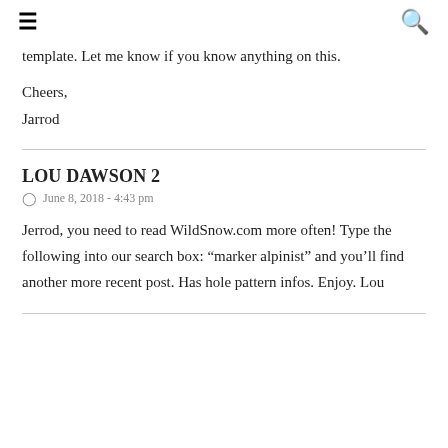≡  [hamburger menu]  [search icon]
template. Let me know if you know anything on this.
Cheers,
Jarrod
LOU DAWSON 2
June 8, 2018 - 4:43 pm
Jerrod, you need to read WildSnow.com more often! Type the following into our search box: “marker alpinist” and you’ll find another more recent post. Has hole pattern infos. Enjoy. Lou